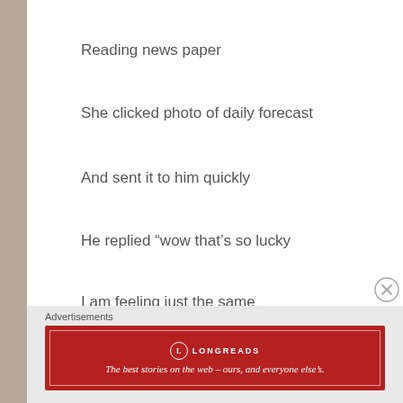Reading news paper
She clicked photo of daily forecast
And sent it to him quickly
He replied “wow that’s so lucky
I am feeling just the same
As though it was written for my own name”
Confirm Mad
Advertisements
[Figure (other): Longreads advertisement banner: red background with Longreads logo and tagline 'The best stories on the web – ours, and everyone else’s.']